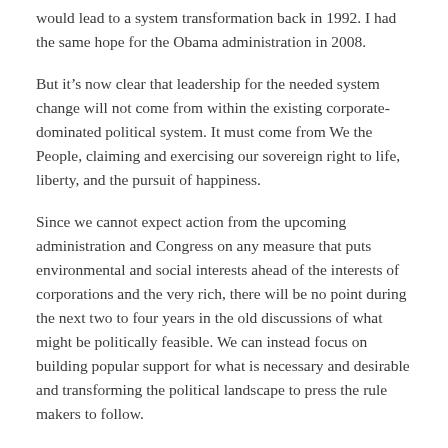would lead to a system transformation back in 1992. I had the same hope for the Obama administration in 2008.
But it's now clear that leadership for the needed system change will not come from within the existing corporate-dominated political system. It must come from We the People, claiming and exercising our sovereign right to life, liberty, and the pursuit of happiness.
Since we cannot expect action from the upcoming administration and Congress on any measure that puts environmental and social interests ahead of the interests of corporations and the very rich, there will be no point during the next two to four years in the old discussions of what might be politically feasible. We can instead focus on building popular support for what is necessary and desirable and transforming the political landscape to press the rule makers to follow.